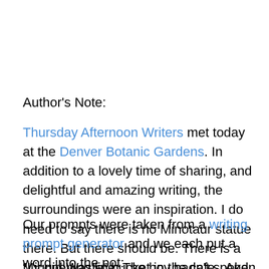Author's Note:
Thursday Afternoon Writers met today at the Denver Botanic Gardens. In addition to a lovely time of sharing, and delightful and amazing writing, the surroundings were an inspiration. I do need to say there is no Minotaur statue there. But there should be. There is a “Liquid Waste” bucket in the cafe.  And there shouldn’t be. At least not within sight. 🙂
Our prompts were taken from a writing prompt generator and we each put a word into the pot:
My opening line: The boy hadn't spoken since his twin had